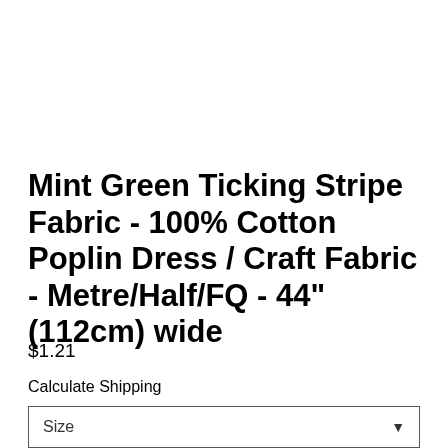Mint Green Ticking Stripe Fabric - 100% Cotton Poplin Dress / Craft Fabric - Metre/Half/FQ - 44" (112cm) wide
$1.21
Calculate Shipping
Size